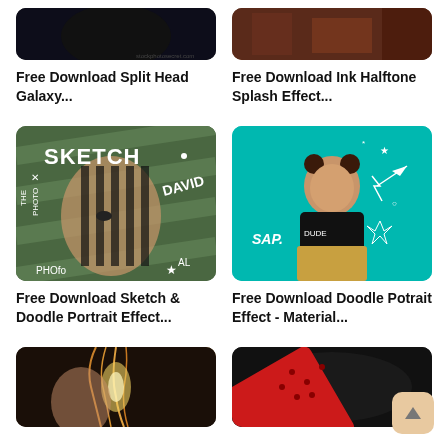[Figure (photo): Partial dark photo at top left, appears to show a face/galaxy effect]
Free Download Split Head Galaxy...
[Figure (photo): Partial photo at top right showing textured/halftone ink splash effect]
Free Download Ink Halftone Splash Effect...
[Figure (illustration): Sketch & doodle portrait effect image on dark green background with striped woman face and text SKETCH DAVID]
Free Download Sketch & Doodle Portrait Effect...
[Figure (illustration): Doodle portrait effect on teal background showing woman with space/rocket doodles, text SAP DUDE]
Free Download Doodle Potrait Effect - Material...
[Figure (photo): Partial photo at bottom left showing woman with wind-blown hair and light effect]
[Figure (photo): Partial photo at bottom right showing red diagonal element against dark background]